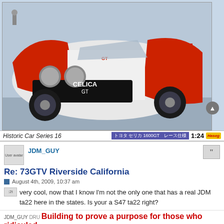[Figure (photo): Red and white Toyota Celica GT race car, front three-quarter view. Hasegawa Historic Car Series 16 model kit box art. Caption: 'Historic Car Series 16' on left, Japanese text 'トヨタ セリカ 1600GT レース仕様' and '1:24' scale on right.]
Historic Car Series 16 | トヨタ セリカ 1600GT レース仕様 | 1:24
JDM_GUY
Re: 73GTV Riverside California
August 4th, 2009, 10:37 am
:2thumbs: very cool, now that I know I'm not the only one that has a real JDM ta22 here in the states. Is your a S47 ta22 right?
JDM_GUY DRU Building to prove a purpose for those who ridiculed.
[Figure (illustration): Yellow smiley face emoji / emoticon, bottom portion visible]